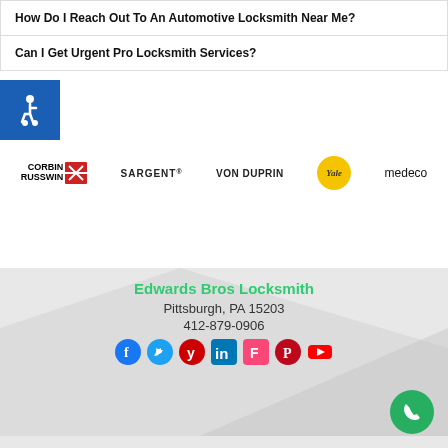How Do I Reach Out To An Automotive Locksmith Near Me?
Can I Get Urgent Pro Locksmith Services?
[Figure (logo): Accessibility wheelchair icon button (blue background)]
[Figure (logo): Brand logos row: Corbin Russwin, Sargent, Von Duprin, Yale, Medeco]
Edwards Bros Locksmith
Pittsburgh, PA 15203
412-879-0906
[Figure (logo): Social media icons: Facebook, Twitter, Yelp, LinkedIn, Foursquare, Pinterest, YouTube, Google]